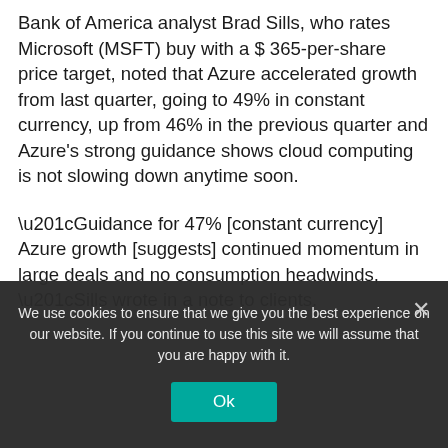Bank of America analyst Brad Sills, who rates Microsoft (MSFT) buy with a $ 365-per-share price target, noted that Azure accelerated growth from last quarter, going to 49% in constant currency, up from 46% in the previous quarter and Azure's strong guidance shows cloud computing is not slowing down anytime soon.
“Guidance for 47% [constant currency] Azure growth [suggests] continued momentum in large deals and no consumption headwinds, “Sills wrote in a note to clients.
We use cookies to ensure that we give you the best experience on our website. If you continue to use this site we will assume that you are happy with it.